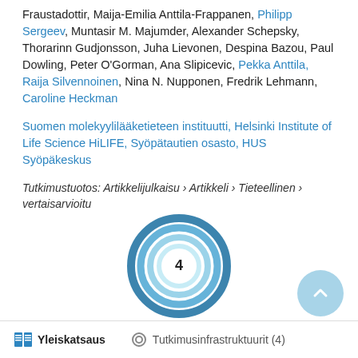Fraustadottir, Maija-Emilia Anttila-Frappanen, Philipp Sergeev, Muntasir M. Majumder, Alexander Schepsky, Thorarinn Gudjonsson, Juha Lievonen, Despina Bazou, Paul Dowling, Peter O'Gorman, Ana Slipicevic, Pekka Anttila, Raija Silvennoinen, Nina N. Nupponen, Fredrik Lehmann, Caroline Heckman
Suomen molekyylilääketieteen instituutti, Helsinki Institute of Life Science HiLIFE, Syöpätautien osasto, HUS Syöpäkeskus
Tutkimustuotos: Artikkelijulkaisu › Artikkeli › Tieteellinen › vertaisarvioitu
[Figure (donut-chart): Donut chart showing the number 4 in the center, with concentric blue rings forming a donut shape. Represents a citation or metric count of 4.]
Yleiskatsaus   Tutkimusinfrastruktuurit (4)